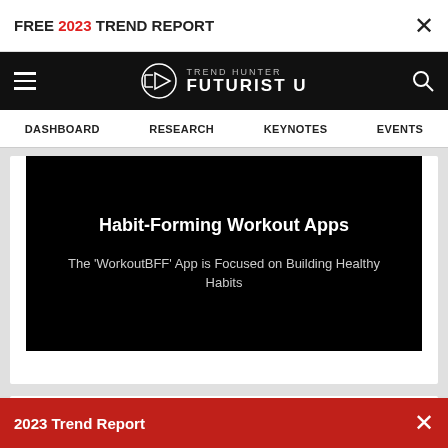FREE 2023 TREND REPORT ×
[Figure (logo): Trend Hunter Futurist U logo with hamburger menu and search icon on black navigation bar]
DASHBOARD  RESEARCH  KEYNOTES  EVENTS
Habit-Forming Workout Apps
The 'WorkoutBFF' App is Focused on Building Healthy Habits
AR Tourism
2023 Trend Report ×